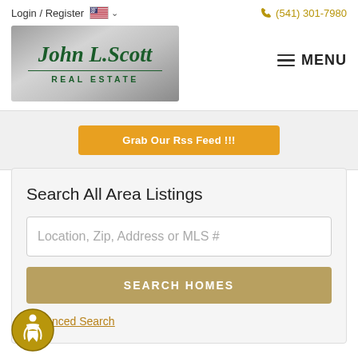Login / Register  🇺🇸 ∨  (541) 301-7980
[Figure (logo): John L. Scott Real Estate logo on metallic silver-gray background with dark green serif text]
≡ MENU
Grab Our Rss Feed !!!
Search All Area Listings
Location, Zip, Address or MLS #
SEARCH HOMES
Advanced Search